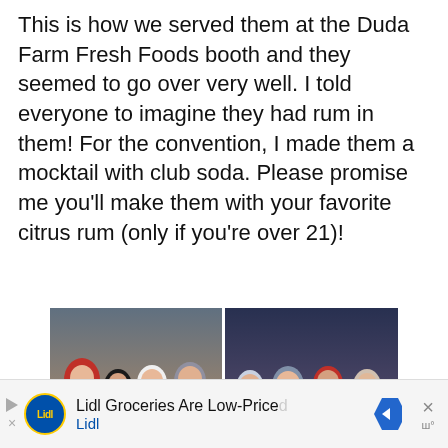This is how we served them at the Duda Farm Fresh Foods booth and they seemed to go over very well. I told everyone to imagine they had rum in them! For the convention, I made them a mocktail with club soda. Please promise me you'll make them with your favorite citrus rum (only if you're over 21)!
[Figure (photo): Two side-by-side photos from the Duda Farm Fresh Foods convention booth. Left photo shows four people posing together including a man in a red shirt and three women, one in a white shirt and one in a floral dress, at a trade show. Right photo shows several people standing and talking at the convention booth.]
Lidl Groceries Are Low-Priced Lidl